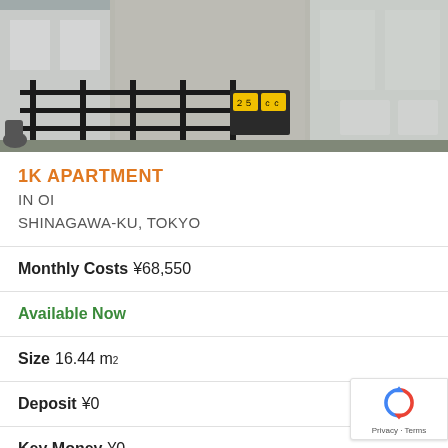[Figure (photo): Exterior photo of a Japanese apartment building showing a fence, gate sign, and adjacent buildings]
1K APARTMENT
IN OI
SHINAGAWA-KU, TOKYO
Monthly Costs ¥68,550
Available Now
Size 16.44 m²
Deposit ¥0
Key Money ¥0
Floor 2 / 2F
Year Built 1980